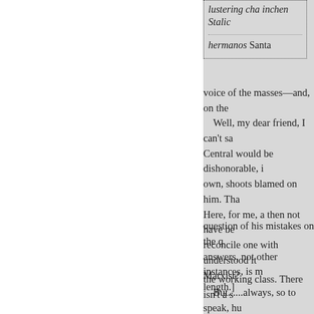| lustering cha inchen Stalic |
| hermanos Santa |
voice of the masses—and, on the
Well, my dear friend, I can't sa Central would be dishonorable, i own, shoots blamed on him. Tha Here, for me, a then not have be reconcile one with understood it Marxist?
question of his mistakes on the q answers, not other instances, is m length.]
the working class. There isn't a s
But......always, so to speak, hu Something unpleasant is omitted prominent exaggerated. So this k indisputable, colossal valid sour abilities, led the party by what m